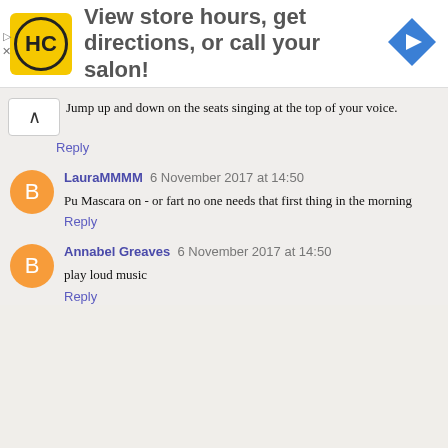[Figure (infographic): Advertisement banner with HC logo (yellow circle with HC text), text 'View store hours, get directions, or call your salon!' and a blue diamond navigation arrow icon on the right. Small play and X controls on the left edge.]
Jump up and down on the seats singing at the top of your voice.
Reply
LauraMMMM 6 November 2017 at 14:50
Pu Mascara on - or fart no one needs that first thing in the morning
Reply
Annabel Greaves 6 November 2017 at 14:50
play loud music
Reply